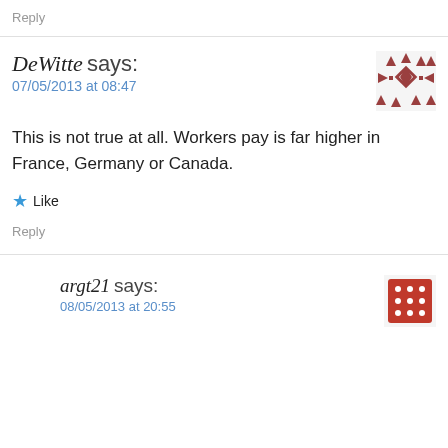Reply
DeWitte says:
07/05/2013 at 08:47
This is not true at all. Workers pay is far higher in France, Germany or Canada.
Like
Reply
argt21 says:
08/05/2013 at 20:55